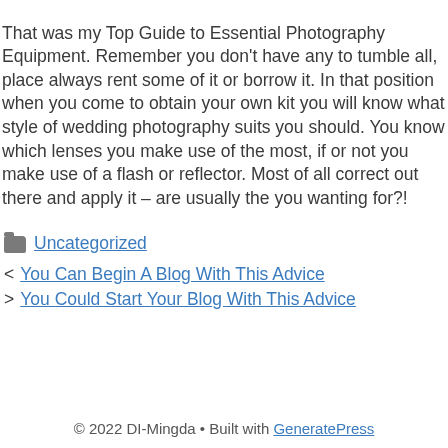That was my Top Guide to Essential Photography Equipment. Remember you don't have any to tumble all, place always rent some of it or borrow it. In that position when you come to obtain your own kit you will know what style of wedding photography suits you should. You know which lenses you make use of the most, if or not you make use of a flash or reflector. Most of all correct out there and apply it – are usually the you wanting for?!
Uncategorized (category link)
< You Can Begin A Blog With This Advice
> You Could Start Your Blog With This Advice
© 2022 DI-Mingda • Built with GeneratePress